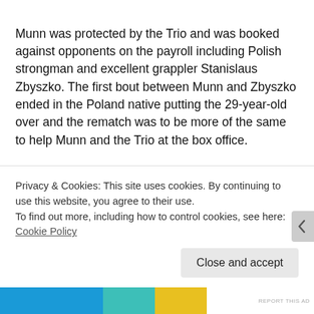Munn was protected by the Trio and was booked against opponents on the payroll including Polish strongman and excellent grappler Stanislaus Zbyszko. The first bout between Munn and Zbyszko ended in the Poland native putting the 29-year-old over and the rematch was to be more of the same to help Munn and the Trio at the box office.
However, Zbyszko had other plans. Years before the Montreal Screwjob, the double-cross occurred with Zbyszko shooting on Munn and winning the match two falls to none
Privacy & Cookies: This site uses cookies. By continuing to use this website, you agree to their use.
To find out more, including how to control cookies, see here: Cookie Policy
Close and accept